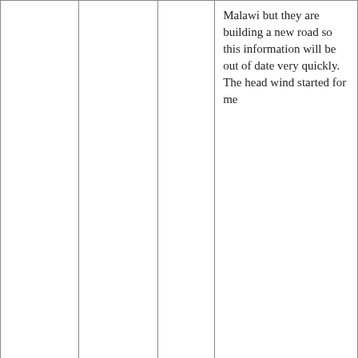|  |  |  | Malawi but they are building a new road so this information will be out of date very quickly. The head wind started for me |
| Karonga | Ngara | 39 | A good road with strong head wind |
| Ngara | Chitimba | 52 | The good road and the head wind continued |